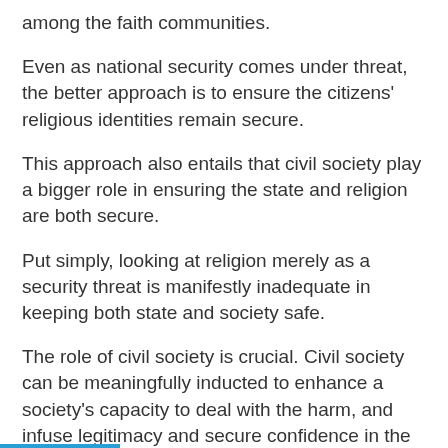among the faith communities.
Even as national security comes under threat, the better approach is to ensure the citizens' religious identities remain secure.
This approach also entails that civil society play a bigger role in ensuring the state and religion are both secure.
Put simply, looking at religion merely as a security threat is manifestly inadequate in keeping both state and society safe.
The role of civil society is crucial. Civil society can be meaningfully inducted to enhance a society's capacity to deal with the harm, and infuse legitimacy and secure confidence in the measures taken.